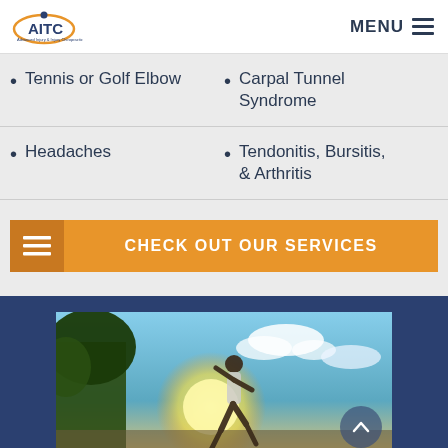AITC | MENU
Tennis or Golf Elbow
Carpal Tunnel Syndrome
Headaches
Tendonitis, Bursitis, & Arthritis
CHECK OUT OUR SERVICES
[Figure (photo): A person running outdoors with the sun shining behind trees, blue sky with clouds in background]